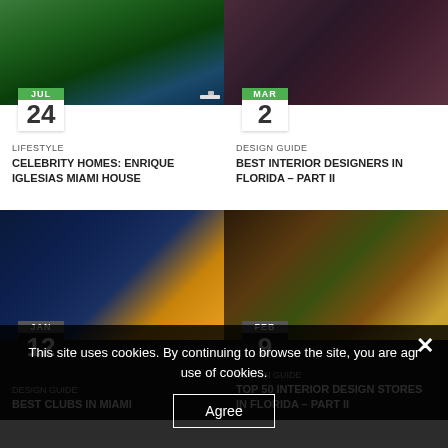[Figure (photo): Aerial view of Enrique Iglesias Miami house with green landscape and waterway]
JUL 24
LIFESTYLE
CELEBRITY HOMES: ENRIQUE IGLESIAS MIAMI HOUSE
[Figure (photo): Interior of lounge with purple chairs and dark ambiance]
MAR 2
DESIGN GUIDE
BEST INTERIOR DESIGNERS IN FLORIDA – PART II
[Figure (photo): Exterior night view of a club building with glowing lights]
12
DESIGN GUIDE
BEST CLUBS IN MIAMI
[Figure (photo): Interior design store with colorful decor, cactus, and white lamp]
9
DESIGN GUIDE
TOP 50 INTERIOR DESIGN STORES IN FLORIDA – PART II
This site uses cookies. By continuing to browse the site, you are agreeing to our use of cookies.